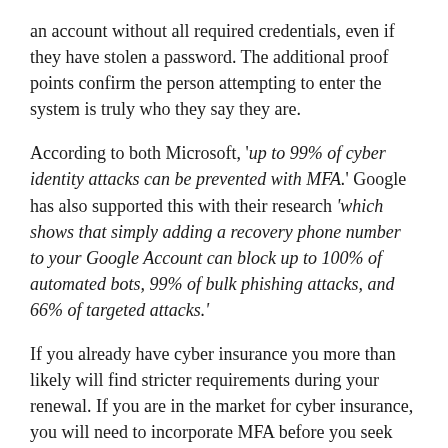an account without all required credentials, even if they have stolen a password. The additional proof points confirm the person attempting to enter the system is truly who they say they are.
According to both Microsoft, 'up to 99% of cyber identity attacks can be prevented with MFA.' Google has also supported this with their research 'which shows that simply adding a recovery phone number to your Google Account can block up to 100% of automated bots, 99% of bulk phishing attacks, and 66% of targeted attacks.'
If you already have cyber insurance you more than likely will find stricter requirements during your renewal. If you are in the market for cyber insurance, you will need to incorporate MFA before you seek coverage. Carrier data proves those without MFA are at a much higher risk for extortion and therefore coverage is not obtainable.